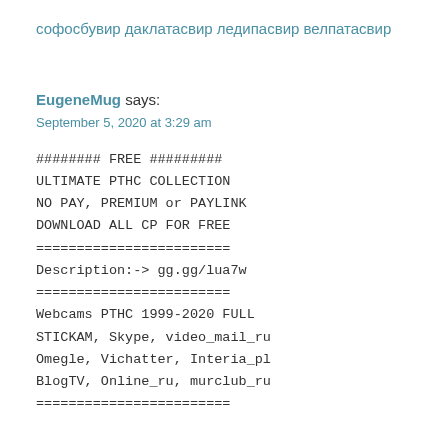софосбувир даклатасвир ледипасвир велпатасвир
EugeneMug says:
September 5, 2020 at 3:29 am
######## FREE #########
ULTIMATE PTHC COLLECTION
NO PAY, PREMIUM or PAYLINK
DOWNLOAD ALL CP FOR FREE
========================
Description:-> gg.gg/lua7w
========================
Webcams PTHC 1999-2020 FULL
STICKAM, Skype, video_mail_ru
Omegle, Vichatter, Interia_pl
BlogTV, Online_ru, murclub_ru
========================